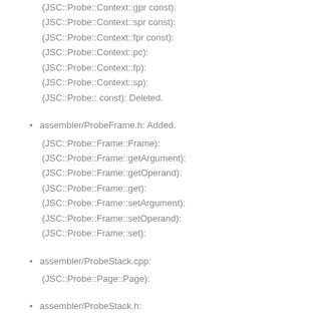(JSC::Probe::Context::gpr const):
(JSC::Probe::Context::spr const):
(JSC::Probe::Context::fpr const):
(JSC::Probe::Context::pc):
(JSC::Probe::Context::fp):
(JSC::Probe::Context::sp):
(JSC::Probe:: const): Deleted.
assembler/ProbeFrame.h: Added.
(JSC::Probe::Frame::Frame):
(JSC::Probe::Frame::getArgument):
(JSC::Probe::Frame::getOperand):
(JSC::Probe::Frame::get):
(JSC::Probe::Frame::setArgument):
(JSC::Probe::Frame::setOperand):
(JSC::Probe::Frame::set):
assembler/ProbeStack.cpp:
(JSC::Probe::Page::Page):
assembler/ProbeStack.h:
(JSC::Probe::Page::get):
(JSC::Probe::Page::set):
(JSC::Probe::Page::physicalAddressFor):
(JSC::Probe::Stack::lowWatermark):
(JSC::Probe::Stack::get):